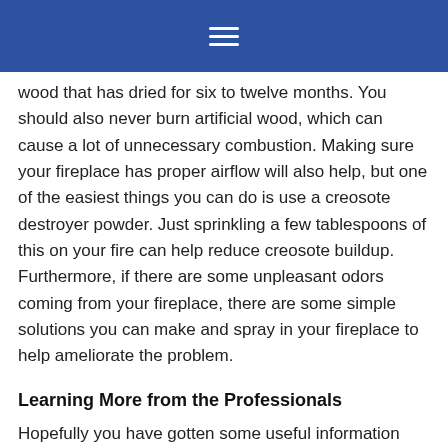[Navigation menu bar]
wood that has dried for six to twelve months. You should also never burn artificial wood, which can cause a lot of unnecessary combustion. Making sure your fireplace has proper airflow will also help, but one of the easiest things you can do is use a creosote destroyer powder. Just sprinkling a few tablespoons of this on your fire can help reduce creosote buildup. Furthermore, if there are some unpleasant odors coming from your fireplace, there are some simple solutions you can make and spray in your fireplace to help ameliorate the problem.
Learning More from the Professionals
Hopefully you have gotten some useful information from this piece that will help you maintain your fireplace in your home in Cream Ridge, NJ. But if you still feel like there is more to learn, don't hesitate to reach